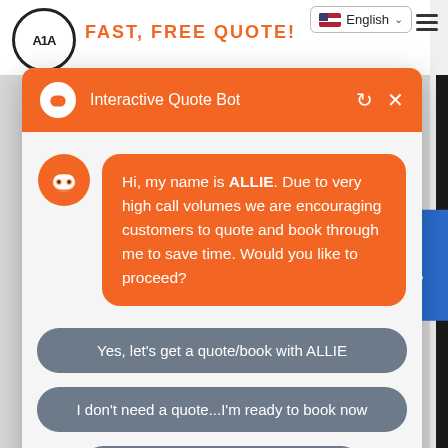[Figure (screenshot): Background of A1A website with logo and 'FAST, FREE QUOTE!' text, language selector showing English with US flag, and hamburger menu icon]
Interactive Quote Bot
Hi, my name is ALLIE. Due to very high call volumes we are encouraging customers to quote and book through me to save time. Would you like to proceed?
Yes, let's get a quote/book with ALLIE
I don't need a quote...I'm ready to book now
Not at this time